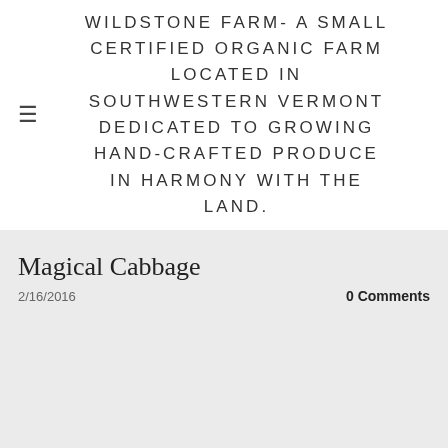WILDSTONE FARM- A SMALL CERTIFIED ORGANIC FARM LOCATED IN SOUTHWESTERN VERMONT DEDICATED TO GROWING HAND-CRAFTED PRODUCE IN HARMONY WITH THE LAND.
Magical Cabbage
2/16/2016
0 Comments
[Figure (illustration): Watercolor illustration of various types of cabbage including green savoy cabbage and red/purple cabbage, with a circular harvest of the month Vermont badge in the top left corner. Cursive labels 'Savoy' and partial label visible.]